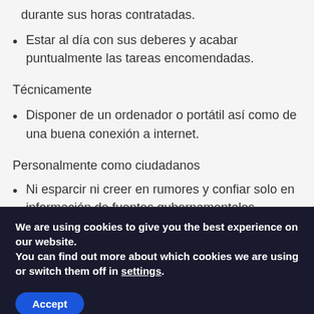durante sus horas contratadas.
Estar al día con sus deberes y acabar puntualmente las tareas encomendadas.
Técnicamente
Disponer de un ordenador o portátil así como de una buena conexión a internet.
Personalmente como ciudadanos
Ni esparcir ni creer en rumores y confiar solo en información de fuentes gubernamentales.
We are using cookies to give you the best experience on our website.
You can find out more about which cookies we are using or switch them off in settings.
Accept